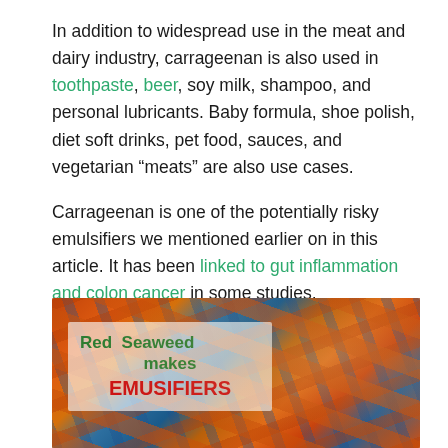In addition to widespread use in the meat and dairy industry, carrageenan is also used in toothpaste, beer, soy milk, shampoo, and personal lubricants. Baby formula, shoe polish, diet soft drinks, pet food, sauces, and vegetarian “meats” are also use cases.

Carrageenan is one of the potentially risky emulsifiers we mentioned earlier on in this article. It has been linked to gut inflammation and colon cancer in some studies.
[Figure (photo): Photo of red seaweed (kelp) in blue water with an overlay text box reading 'Red Seaweed makes EMUSIFIERS' in green and red bold text on a semi-transparent white background.]